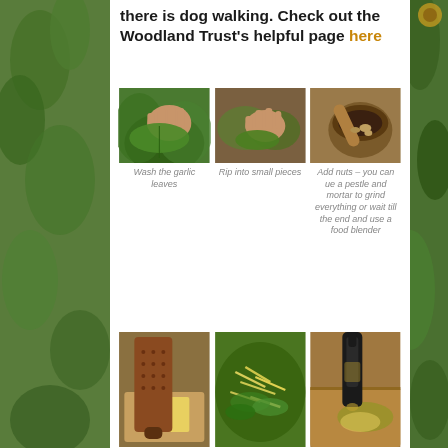there is dog walking. Check out the Woodland Trust's helpful page here
[Figure (photo): Hands holding green garlic leaves - washing the garlic leaves]
Wash the garlic leaves
[Figure (photo): Hands ripping green leaves into small pieces]
Rip into small pieces
[Figure (photo): Pestle and mortar with nuts on wooden board]
Add nuts – you can ue a pestle and mortar to grind everything or wait till the end and use a food blender
[Figure (photo): Cheese grater with a block of cheese on a wooden board]
[Figure (photo): Shredded cheese and green leaves mixed together on outdoor surface]
[Figure (photo): Olive oil bottle being poured over ingredients on a wooden cutting board]